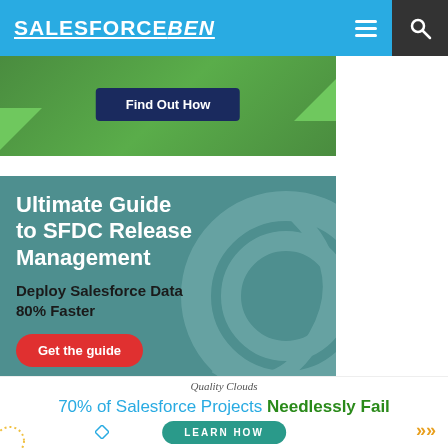SALESFORCEBEN
[Figure (screenshot): Partial advertisement with green background and 'Find Out How' button]
[Figure (screenshot): Prodly advertisement: Ultimate Guide to SFDC Release Management - Deploy Salesforce Data 80% Faster - Get the guide button]
Quality Clouds
70% of Salesforce Projects Needlessly Fail
LEARN HOW